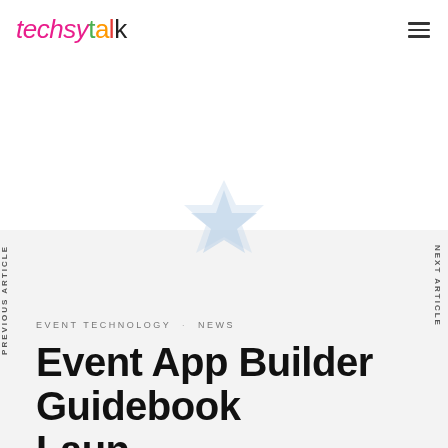techsytalk
[Figure (illustration): Light blue star/badge shape decorative graphic centered on the page transition area]
PREVIOUS ARTICLE
NEXT ARTICLE
EVENT TECHNOLOGY · NEWS
Event App Builder Guidebook Laun...